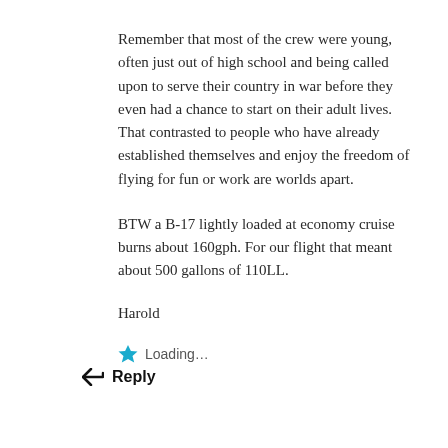Remember that most of the crew were young, often just out of high school and being called upon to serve their country in war before they even had a chance to start on their adult lives. That contrasted to people who have already established themselves and enjoy the freedom of flying for fun or work are worlds apart.
BTW a B-17 lightly loaded at economy cruise burns about 160gph. For our flight that meant about 500 gallons of 110LL.
Harold
Loading...
Reply